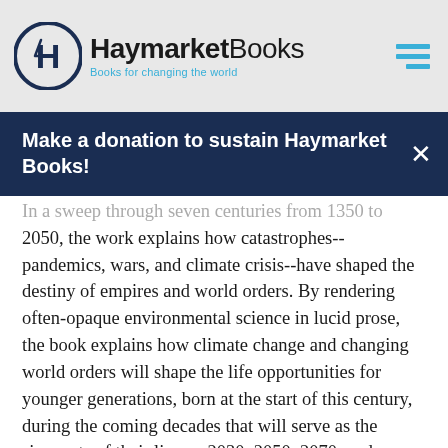Haymarket Books — Books for changing the world
Make a donation to sustain Haymarket Books!
In a sweep through seven centuries from 1350 to 2050, the work explains how catastrophes--pandemics, wars, and climate crisis--have shaped the destiny of empires and world orders. By rendering often-opaque environmental science in lucid prose, the book explains how climate change and changing world orders will shape the life opportunities for younger generations, born at the start of this century, during the coming decades that will serve as the signposts of their lives—2030, 2050, 2070, and beyond.